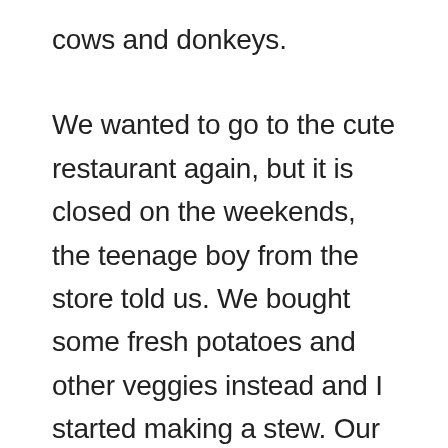cows and donkeys.

We wanted to go to the cute restaurant again, but it is closed on the weekends, the teenage boy from the store told us. We bought some fresh potatoes and other veggies instead and I started making a stew. Our buddy boats had also planned to head back to the restaurant. We invited SV Isabella to return the dinner favor, but ended up with the stew on their large boat instead. Fantasy and also the Answer joined with drinks in